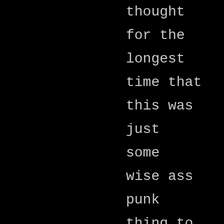thought for the longest time that this was just some wise ass punk thing to say...until about ten years ago whilst making a tuna fish sandwich I read the label on the